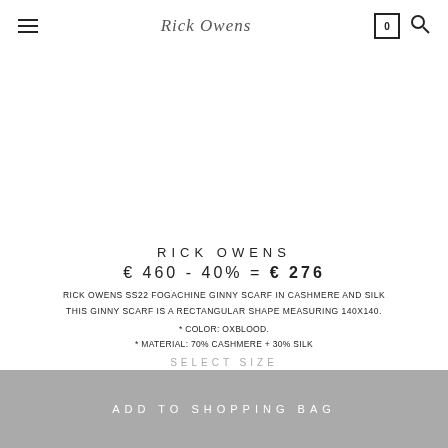Rick Owens
RICK OWENS
€ 460 - 40% = € 276
RICK OWENS SS22 FOGACHINE GINNY SCARF IN CASHMERE AND SILK
THIS GINNY SCARF IS A RECTANGULAR SHAPE MEASURING 140X140.
* COLOR: OXBLOOD.
* MATERIAL: 70% CASHMERE + 30% SILK
SELECT SIZE
ADD TO SHOPPING BAG